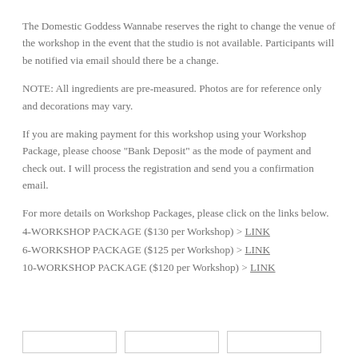The Domestic Goddess Wannabe reserves the right to change the venue of the workshop in the event that the studio is not available. Participants will be notified via email should there be a change.
NOTE: All ingredients are pre-measured. Photos are for reference only and decorations may vary.
If you are making payment for this workshop using your Workshop Package, please choose "Bank Deposit" as the mode of payment and check out. I will process the registration and send you a confirmation email.
For more details on Workshop Packages, please click on the links below.
4-WORKSHOP PACKAGE ($130 per Workshop) > LINK
6-WORKSHOP PACKAGE ($125 per Workshop) > LINK
10-WORKSHOP PACKAGE ($120 per Workshop) > LINK